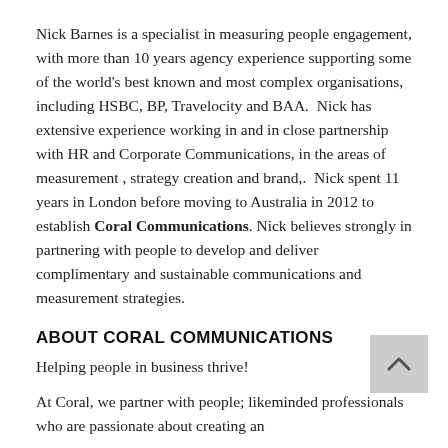Nick Barnes is a specialist in measuring people engagement, with more than 10 years agency experience supporting some of the world's best known and most complex organisations, including HSBC, BP, Travelocity and BAA.  Nick has extensive experience working in and in close partnership with HR and Corporate Communications, in the areas of measurement , strategy creation and brand,.  Nick spent 11 years in London before moving to Australia in 2012 to establish Coral Communications. Nick believes strongly in partnering with people to develop and deliver complimentary and sustainable communications and measurement strategies.
ABOUT CORAL COMMUNICATIONS
Helping people in business thrive!
At Coral, we partner with people; likeminded professionals who are passionate about creating an